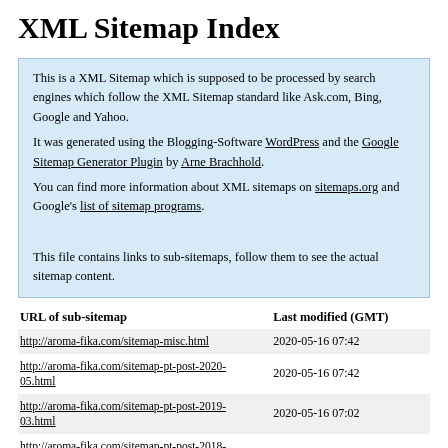XML Sitemap Index
This is a XML Sitemap which is supposed to be processed by search engines which follow the XML Sitemap standard like Ask.com, Bing, Google and Yahoo.
It was generated using the Blogging-Software WordPress and the Google Sitemap Generator Plugin by Arne Brachhold.
You can find more information about XML sitemaps on sitemaps.org and Google's list of sitemap programs.

This file contains links to sub-sitemaps, follow them to see the actual sitemap content.
| URL of sub-sitemap | Last modified (GMT) |
| --- | --- |
| http://aroma-fika.com/sitemap-misc.html | 2020-05-16 07:42 |
| http://aroma-fika.com/sitemap-pt-post-2020-05.html | 2020-05-16 07:42 |
| http://aroma-fika.com/sitemap-pt-post-2019-03.html | 2020-05-16 07:02 |
| http://aroma-fika.com/sitemap-pt-post-2018-10.html | 2018-10-29 15:39 |
| http://aroma-fika.com/sitemap-pt-post-2018-08.html | 2018-08-06 13:42 |
| http://aroma-fika.com/sitemap-pt-post-2018-03.html | 2018-03-25 08:45 |